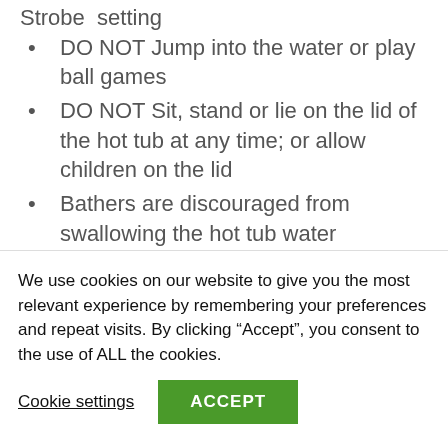Strobe  setting
DO NOT Jump into the water or play ball games
DO NOT Sit, stand or lie on the lid of the hot tub at any time; or allow children on the lid
Bathers are discouraged from swallowing the hot tub water
It is recommended that bathers do not exceed 15 minutes immersion at a time
It is recommended that the hot tub is not
We use cookies on our website to give you the most relevant experience by remembering your preferences and repeat visits. By clicking “Accept”, you consent to the use of ALL the cookies.
Cookie settings
ACCEPT